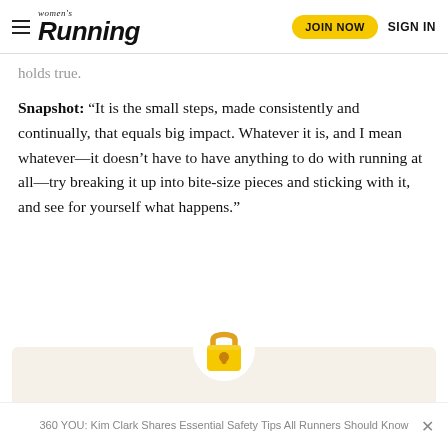women's Running | JOIN NOW | SIGN IN
holds true.
Snapshot: “It is the small steps, made consistently and continually, that equals big impact. Whatever it is, and I mean whatever—it doesn’t have to have anything to do with running at all—try breaking it up into bite-size pieces and sticking with it, and see for yourself what happens.”
[Figure (illustration): Gold padlock emoji icon centered above a beige membership spotlight box]
MEMBERSHIP SPOTLIGHT
360 YOU: Kim Clark Shares Essential Safety Tips All Runners Should Know